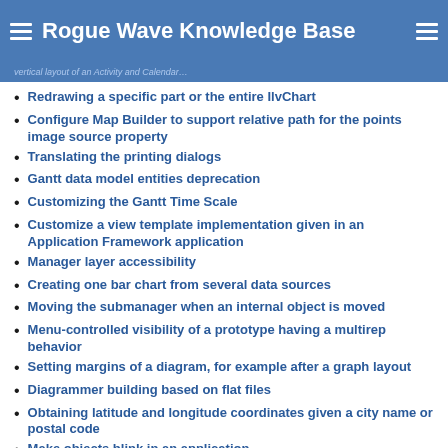Rogue Wave Knowledge Base
Redrawing a specific part or the entire IlvChart
Configure Map Builder to support relative path for the points image source property
Translating the printing dialogs
Gantt data model entities deprecation
Customizing the Gantt Time Scale
Customize a view template implementation given in an Application Framework application
Manager layer accessibility
Creating one bar chart from several data sources
Moving the submanager when an internal object is moved
Menu-controlled visibility of a prototype having a multirep behavior
Setting margins of a diagram, for example after a graph layout
Diagrammer building based on flat files
Obtaining latitude and longitude coordinates given a city name or postal code
Make objects blink in an application
Multiple stacked bar charts along the z-axis
Expanding or collapsing subgraphs in thin-client applications
Accessing the scrollbars of IlvHierarchyChart
Preserve the position of a node in a hierarchical layout after the node has been replaced
IlvGeneralNode will not redraw correctly after changing any of the